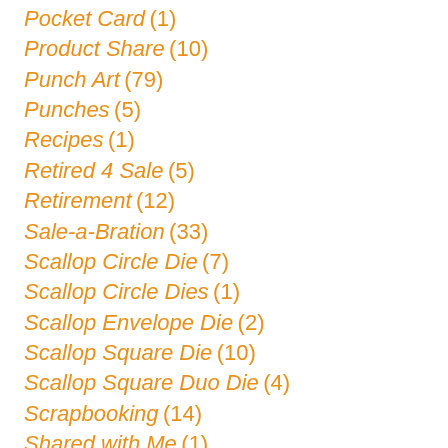Pocket Card (1)
Product Share (10)
Punch Art (79)
Punches (5)
Recipes (1)
Retired 4 Sale (5)
Retirement (12)
Sale-a-Bration (33)
Scallop Circle Die (7)
Scallop Circle Dies (1)
Scallop Envelope Die (2)
Scallop Square Die (10)
Scallop Square Duo Die (4)
Scrapbooking (14)
Shared with Me (1)
Shimmer Paint (2)
Shopping with Marie (1)
Simply Adorned (2)
Simply Scored (3)